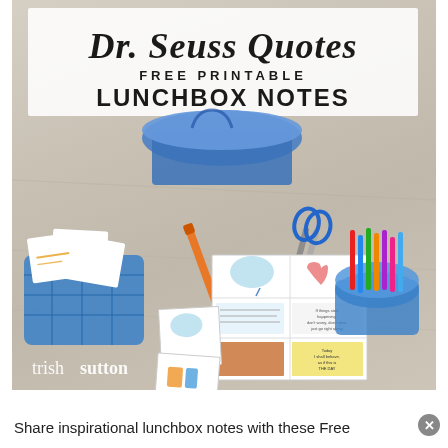[Figure (photo): Overhead photo of Dr. Seuss free printable lunchbox notes laid out on a wooden surface with scissors, markers, a blue basket of note cards, a cup of colored markers, and a sheet of lunchbox notes. Title overlay reads 'Dr. Seuss Quotes FREE PRINTABLE LUNCHBOX NOTES'. Watermark reads 'trishsutton' in bottom left corner.]
Share inspirational lunchbox notes with these Free